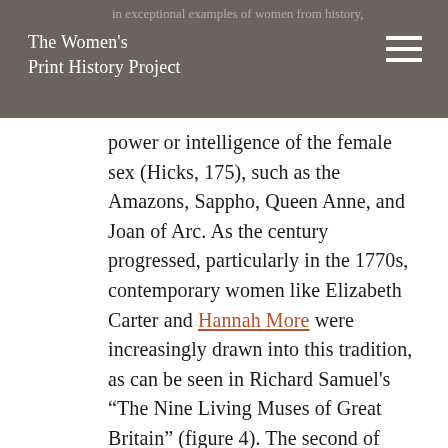The Women's Print History Project
power or intelligence of the female sex (Hicks, 175), such as the Amazons, Sappho, Queen Anne, and Joan of Arc. As the century progressed, particularly in the 1770s, contemporary women like Elizabeth Carter and Hannah More were increasingly drawn into this tradition, as can be seen in Richard Samuel's “The Nine Living Muses of Great Britain” (figure 4). The second of Sophia’s works foreshadows the coming inclusion of contemporary women in the ‘women worthies’ tradition by adding eighteenth-century ‘women worthies’ such as Elizabeth Singer Rowe and